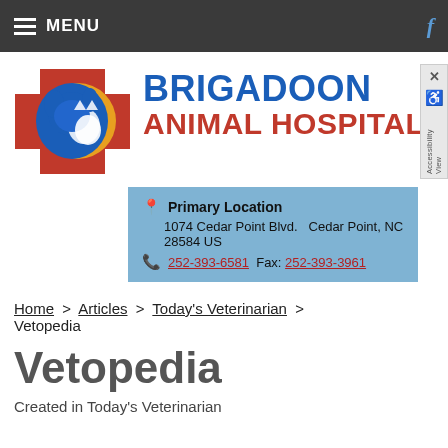MENU
[Figure (logo): Brigadoon Animal Hospital logo with dog and cat silhouette on red cross with gold circle, blue background]
BRIGADOON ANIMAL HOSPITAL
Primary Location
1074 Cedar Point Blvd.   Cedar Point, NC 28584 US
252-393-6581   Fax: 252-393-3961
Home > Articles > Today's Veterinarian > Vetopedia
Vetopedia
Created in Today's Veterinarian